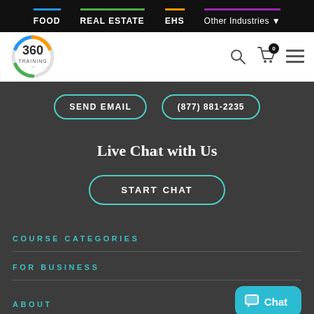FOOD  REAL ESTATE  EHS  Other Industries
[Figure (logo): 360 Training logo — circular logo with 360 and TRAINING text]
SEND EMAIL
(877) 881-2235
Live Chat with Us
START CHAT
COURSE CATEGORIES
FOR BUSINESS
ABOUT
Chat